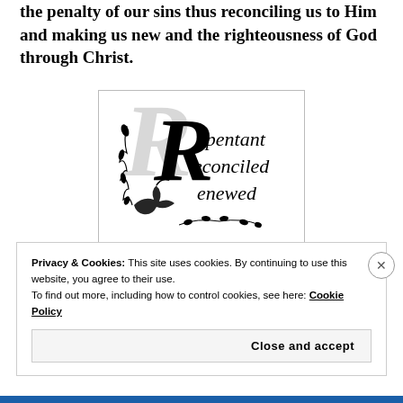the penalty of our sins thus reconciling us to Him and making us new and the righteousness of God through Christ.
[Figure (logo): Decorative logo with large calligraphic R and the words 'Repentant Reconciled Renewed' with dove and floral ornaments]
Privacy & Cookies: This site uses cookies. By continuing to use this website, you agree to their use.
To find out more, including how to control cookies, see here: Cookie Policy
Close and accept